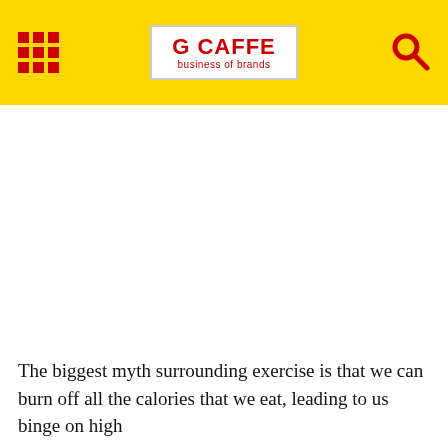G CAFFE business of brands
The biggest myth surrounding exercise is that we can burn off all the calories that we eat, leading to us binge on high